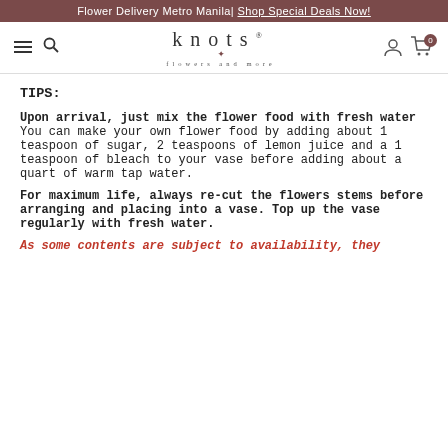Flower Delivery Metro Manila | Shop Special Deals Now!
[Figure (logo): Knots Flowers and More logo with hamburger menu and search icon on left, user and cart icons on right]
TIPS:
Upon arrival, just mix the flower food with fresh water
You can make your own flower food by adding about 1 teaspoon of sugar, 2 teaspoons of lemon juice and a 1 teaspoon of bleach to your vase before adding about a quart of warm tap water.
For maximum life, always re-cut the flowers stems before arranging and placing into a vase. Top up the vase regularly with fresh water.
As some contents are subject to availability, they